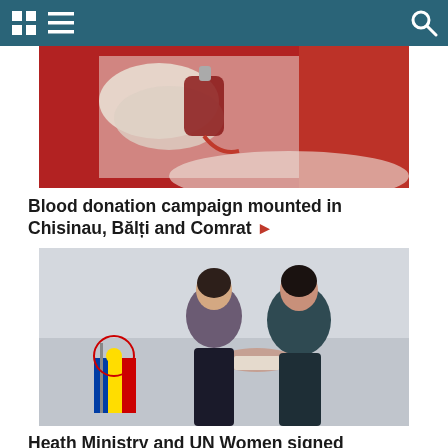Navigation bar with grid icon, menu icon, and search icon
[Figure (photo): Close-up photo of a gloved hand holding a medical blood bag against a red background, related to blood donation campaign]
Blood donation campaign mounted in Chisinau, Bălți and Comrat ▶
[Figure (photo): Two women shaking hands in front of a wall with Moldovan flag decorations, representing the signing of an agreement between Health Ministry and UN Women]
Heath Ministry and UN Women signed agreement on Gender Equality and Domestic Violence Combat